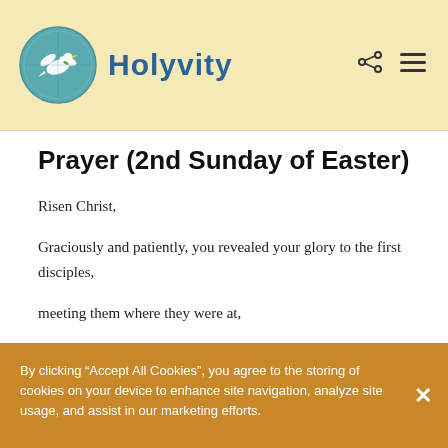Holyvity
Prayer (2nd Sunday of Easter)
Risen Christ,
Graciously and patiently, you revealed your glory to the first disciples,
meeting them where they were at,
showing them in the ways they needed to see to understand.
By clicking “Accept All Cookies”, you agree to the storing of cookies on your device to enhance site navigation, analyze site usage, and assist in our marketing efforts.